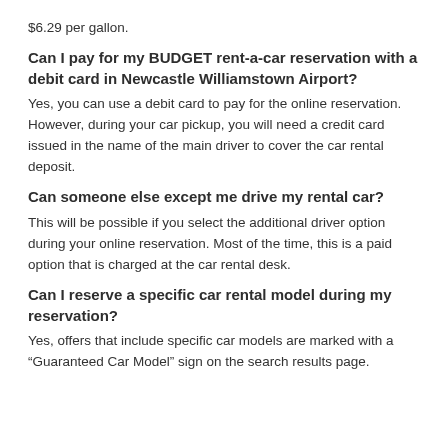$6.29 per gallon.
Can I pay for my BUDGET rent-a-car reservation with a debit card in Newcastle Williamstown Airport?
Yes, you can use a debit card to pay for the online reservation. However, during your car pickup, you will need a credit card issued in the name of the main driver to cover the car rental deposit.
Can someone else except me drive my rental car?
This will be possible if you select the additional driver option during your online reservation. Most of the time, this is a paid option that is charged at the car rental desk.
Can I reserve a specific car rental model during my reservation?
Yes, offers that include specific car models are marked with a “Guaranteed Car Model” sign on the search results page.